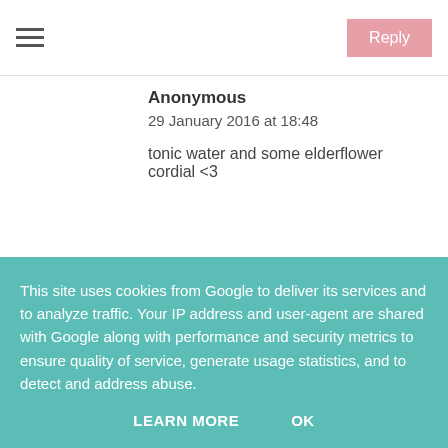≡   Reply
Anonymous
29 January 2016 at 18:48
tonic water and some elderflower cordial <3
Reply
Unknown
29 January 2016 at 18:50
This site uses cookies from Google to deliver its services and to analyze traffic. Your IP address and user-agent are shared with Google along with performance and security metrics to ensure quality of service, generate usage statistics, and to detect and address abuse.
LEARN MORE   OK